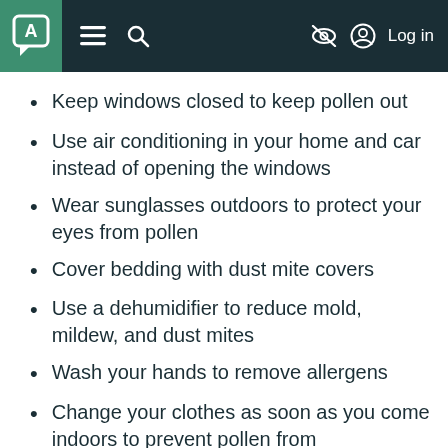Navigation bar with logo, menu, search, and Log in
Keep windows closed to keep pollen out
Use air conditioning in your home and car instead of opening the windows
Wear sunglasses outdoors to protect your eyes from pollen
Cover bedding with dust mite covers
Use a dehumidifier to reduce mold, mildew, and dust mites
Wash your hands to remove allergens
Change your clothes as soon as you come indoors to prevent pollen from